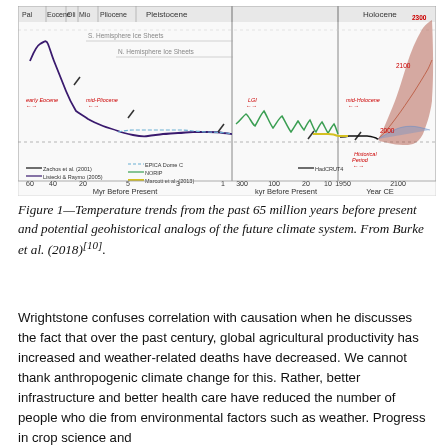[Figure (continuous-plot): Multi-panel time series chart showing global temperature anomaly (ΔT °C) over geological time from 65 Myr Before Present through year 2100. Left panel covers Paleocene through Pliocene (65-1 Myr BP) with a dark purple/blue line showing Zachos et al. (2001) and Lisiecki & Raymo (2005) data, EPICA Dome C ice core data in light blue. Middle panel covers Pleistocene (500-1 kyr BP) with green NORIP data and yellow Marcott et al. (2013) line. Right panel covers Holocene to projected 2100 (1950-2100 Year CE) in black HadCRUT4 data with red/brown/blue fan projections to 2300. Geological epoch labels at top: Pal, Eocene, Oli, Mio, Pliocene, Pleistocene, Holocene. Annotations mark 'early Eocene', 'mid-Pliocene', 'LGI', 'mid-Holocene', 'Historical Period'. Horizontal dashed lines at 0°C and 15°C. Ice sheet onset lines labeled 'S. Hemisphere Ice Sheets' and 'N. Hemisphere Ice Sheets'. Data extends to projected 2300 value of approximately 5-10°C.]
Figure 1—Temperature trends from the past 65 million years before present and potential geohistorical analogs of the future climate system. From Burke et al. (2018)[10].
Wrightstone confuses correlation with causation when he discusses the fact that over the past century, global agricultural productivity has increased and weather-related deaths have decreased. We cannot thank anthropogenic climate change for this. Rather, better infrastructure and better health care have reduced the number of people who die from environmental factors such as weather. Progress in crop science and